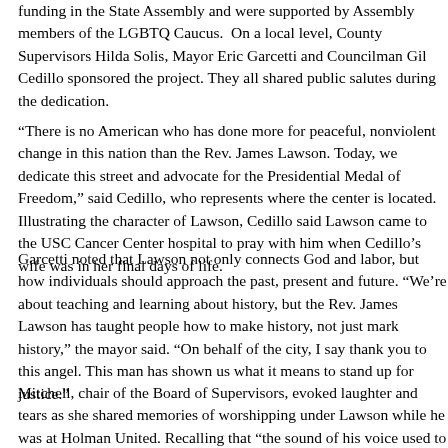funding in the State Assembly and were supported by Assembly members of the LGBTQ Caucus. On a local level, County Supervisors Hilda Solis, Mayor Eric Garcetti and Councilman Gil Cedillo sponsored the project. They all shared public salutes during the dedication.
“There is no American who has done more for peaceful, nonviolent change in this nation than the Rev. James Lawson. Today, we dedicate this street and advocate for the Presidential Medal of Freedom,” said Cedillo, who represents where the center is located. Illustrating the character of Lawson, Cedillo said Lawson came to the USC Cancer Center hospital to pray with him when Cedillo’s wife was in her final days of life.
Garcetti noted that Lawson not only connects God and labor, but how individuals should approach the past, present and future. “We’re about teaching and learning about history, but the Rev. James Lawson has taught people how to make history, not just mark history,” the mayor said. “On behalf of the city, I say thank you to this angel. This man has shown us what it means to stand up for justice.”
Mitchell, chair of the Board of Supervisors, evoked laughter and tears as she shared memories of worshipping under Lawson while he was at Holman United. Recalling that “the sound of his voice used to scare me to death,” she credited him with patiently explaining the meaning of “plantation capitalism”